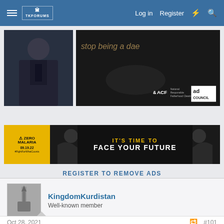Log in  Register
[Figure (photo): Ad banner showing a man in suit on left, and dark photo with text 'stop being a dae' with ACF and ad council logos]
[Figure (photo): Zero Malaria banner ad: IT'S TIME TO FACE YOUR FUTURE with two men facing each other, dated 09.19.22]
REGISTER TO REMOVE ADS
KingdomKurdistan
Well-known member
Oct 28, 2021
#101
I'm just terrified SE will produce the series and just send the